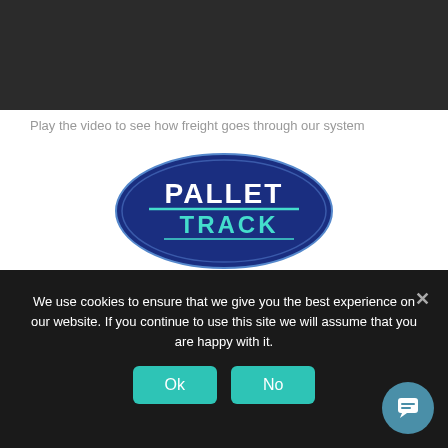[Figure (screenshot): Dark video player placeholder area]
Play the video to see how freight goes through our system
[Figure (logo): Pallet Track logo — blue oval with white and cyan text reading PALLET TRACK]
READ MORE
We use cookies to ensure that we give you the best experience on our website. If you continue to use this site we will assume that you are happy with it.